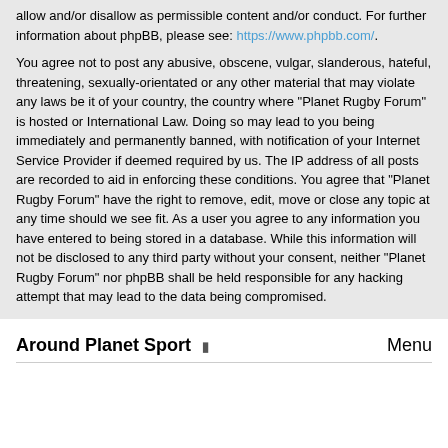allow and/or disallow as permissible content and/or conduct. For further information about phpBB, please see: https://www.phpbb.com/.
You agree not to post any abusive, obscene, vulgar, slanderous, hateful, threatening, sexually-orientated or any other material that may violate any laws be it of your country, the country where "Planet Rugby Forum" is hosted or International Law. Doing so may lead to you being immediately and permanently banned, with notification of your Internet Service Provider if deemed required by us. The IP address of all posts are recorded to aid in enforcing these conditions. You agree that "Planet Rugby Forum" have the right to remove, edit, move or close any topic at any time should we see fit. As a user you agree to any information you have entered to being stored in a database. While this information will not be disclosed to any third party without your consent, neither "Planet Rugby Forum" nor phpBB shall be held responsible for any hacking attempt that may lead to the data being compromised.
Around Planet Sport  Menu